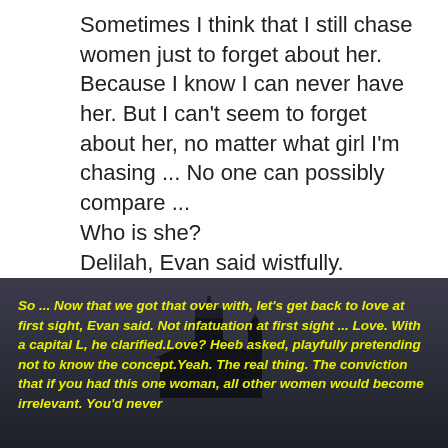Sometimes I think that I still chase women just to forget about her. Because I know I can never have her. But I can't seem to forget about her, no matter what girl I'm chasing ... No one can possibly compare ...
Who is she?
Delilah, Evan said wistfully.
Delilah?, asked Heeb, intrigued
Delilah Nakova, Evan replied, with a hint of awe and reverence in his voice. " — Zack Love
[Figure (photo): Dark atmospheric photo of a church silhouette against a dusky sky, with yellow italic bold text overlaid reading: So ... Now that we got that over with, let's get back to love at first sight, Evan said. Not infatuation at first sight ... Love. With a capital L, he clarified.Love? Heeb asked, playfully pretending not to know the concept.Yeah. The real thing. The conviction that if you had this one woman, all other women would become irrelevant. You'd never]